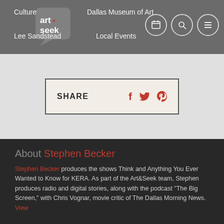Culture  Dallas Museum of Art  Lee Sandstead  Local Events
[Figure (logo): Art+Seek logo — white speech bubble with 'art+seek' text inside on dark background]
SHARE
About Stephen Becker
Stephen Becker produces the shows Think and Anything You Ever Wanted to Know for KERA. As part of the Art&Seek team, Stephen produces radio and digital stories, along with the podcast "The Big Screen," with Chris Vognar, movie critic of The Dallas Morning News. View